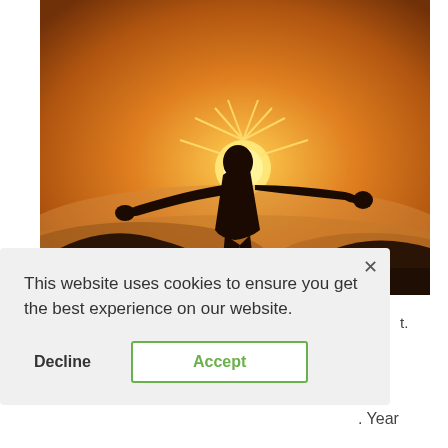[Figure (photo): Silhouette of a person with arms spread wide against a bright orange sunset sky, standing on elevated ground with misty landscape below]
This website uses cookies to ensure you get the best experience on our website.
Decline
Accept
t.
. Year